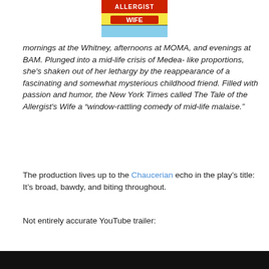[Figure (illustration): Comic-style book cover image for 'The Allergist's Wife' showing partial title text in red and blue on a comic art background]
mornings at the Whitney, afternoons at MOMA, and evenings at BAM. Plunged into a mid-life crisis of Medea-like proportions, she's shaken out of her lethargy by the reappearance of a fascinating and somewhat mysterious childhood friend. Filled with passion and humor, the New York Times called The Tale of the Allergist's Wife a “window-rattling comedy of mid-life malaise.”
The production lives up to the Chaucerian echo in the play’s title: It’s broad, bawdy, and biting throughout.
Not entirely accurate YouTube trailer:
[Figure (screenshot): Dark video thumbnail at bottom of page]